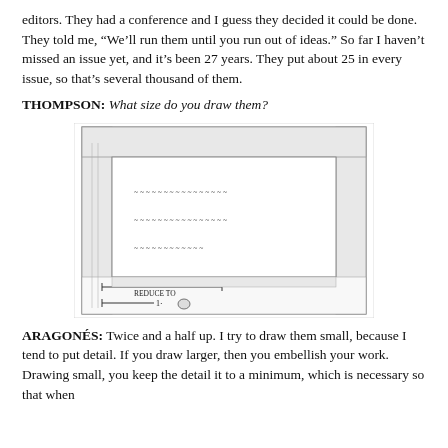editors. They had a conference and I guess they decided it could be done. They told me, “We’ll run them until you run out of ideas.” So far I haven’t missed an issue yet, and it’s been 27 years. They put about 25 in every issue, so that’s several thousand of them.
THOMPSON: What size do you draw them?
[Figure (illustration): A pen-and-ink cartoon illustration showing a decorative border of detailed drawings surrounding a central panel with rows of small cartoon characters (appear to be animals/sheep). Below the central image are arrows and annotations indicating scale measurements, reading '2½' and 'Reduce to 1'.]
ARAGONÉS: Twice and a half up. I try to draw them small, because I tend to put detail. If you draw larger, then you embellish your work. Drawing small, you keep the detail it to a minimum, which is necessary so that when